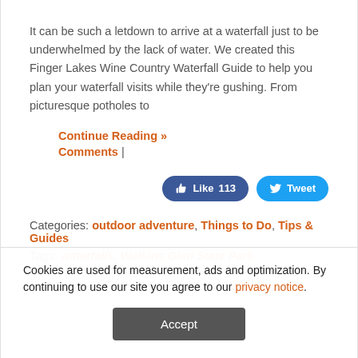It can be such a letdown to arrive at a waterfall just to be underwhelmed by the lack of water. We created this Finger Lakes Wine Country Waterfall Guide to help you plan your waterfall visits while they're gushing. From picturesque potholes to
Continue Reading »
Comments |
[Figure (other): Social media buttons: Like 113 (Facebook) and Tweet (Twitter)]
Categories: outdoor adventure, Things to Do, Tips & Guides
Tags: waterfalls, Watkins Glen State Park
Cookies are used for measurement, ads and optimization. By continuing to use our site you agree to our privacy notice.